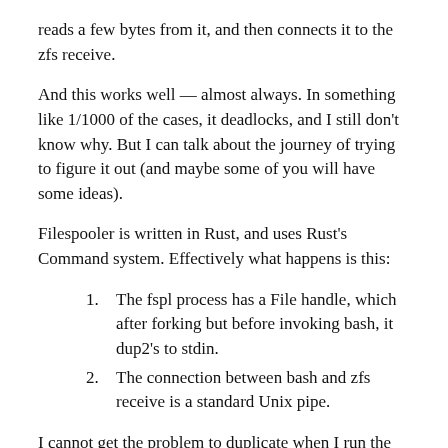reads a few bytes from it, and then connects it to the zfs receive.
And this works well — almost always. In something like 1/1000 of the cases, it deadlocks, and I still don't know why. But I can talk about the journey of trying to figure it out (and maybe some of you will have some ideas).
Filespooler is written in Rust, and uses Rust's Command system. Effectively what happens is this:
The fspl process has a File handle, which after forking but before invoking bash, it dup2's to stdin.
The connection between bash and zfs receive is a standard Unix pipe.
I cannot get the problem to duplicate when I run the entire thing under strace -f. So I am left trying to peek at it from the outside. What happens if I try to attach to each